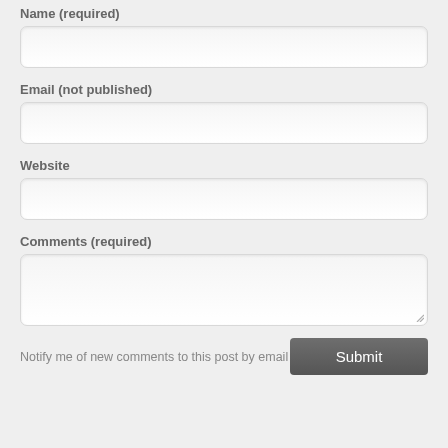Name (required)
[Figure (other): Text input field for Name]
Email (not published)
[Figure (other): Text input field for Email]
Website
[Figure (other): Text input field for Website]
Comments (required)
[Figure (other): Textarea field for Comments]
Notify me of new comments to this post by email
[Figure (other): Submit button]